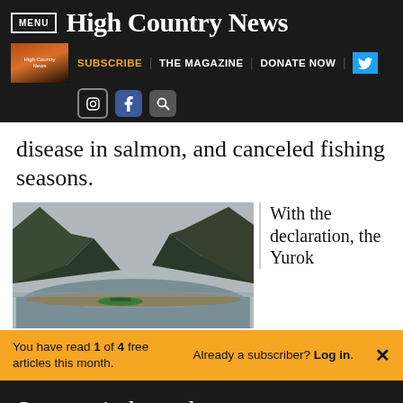MENU | High Country News
SUBSCRIBE | THE MAGAZINE | DONATE NOW
disease in salmon, and canceled fishing seasons.
[Figure (photo): River valley between forested mountains, low water level with kayak visible in foreground, overcast sky]
With the declaration, the Yurok
You have read 1 of 4 free articles this month.
Already a subscriber? Log in.
Support independent journalism.
Subscribe